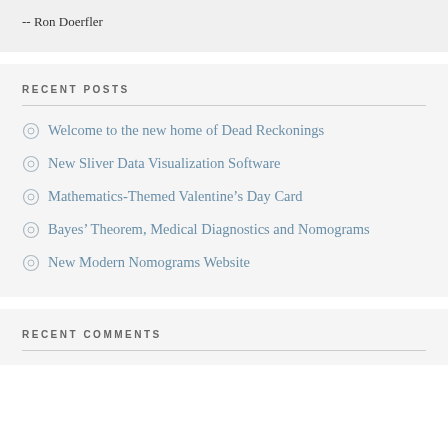-- Ron Doerfler
RECENT POSTS
Welcome to the new home of Dead Reckonings
New Sliver Data Visualization Software
Mathematics-Themed Valentine's Day Card
Bayes' Theorem, Medical Diagnostics and Nomograms
New Modern Nomograms Website
RECENT COMMENTS